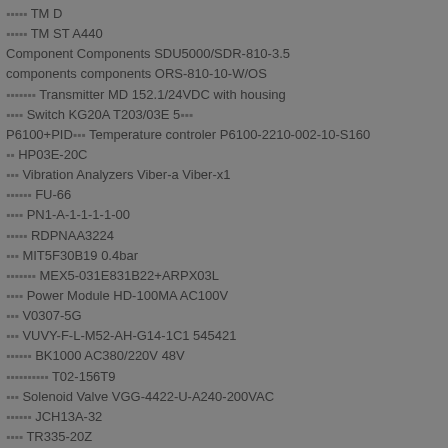▪▪▪▪▪ TM D
▪▪▪▪▪ TM ST A440
Component Components SDU5000/SDR-810-3.5
components components ORS-810-10-W/OS
▪▪▪▪▪▪▪ Transmitter MD 152.1/24VDC with housing
▪▪▪▪ Switch KG20A T203/03E 5▪▪▪
P6100+PID▪▪▪ Temperature controler P6100-2210-002-10-S160
▪▪ HP03E-20C
▪▪▪ Vibration Analyzers Viber-a Viber-x1
▪▪▪▪▪▪ FU-66
▪▪▪▪ PN1-A-1-1-1-1-00
▪▪▪▪▪ RDPNAA3224
▪▪▪ MIT5F30B19 0.4bar
▪▪▪▪▪▪▪ MEX5-031E831B22+ARPX03L
▪▪▪▪ Power Module HD-100MA AC100V
▪▪▪ V0307-5G
▪▪▪ VUVY-F-L-M52-AH-G14-1C1 545421
▪▪▪▪▪▪ BK1000 AC380/220V 48V
▪▪▪▪▪▪▪▪▪▪ T02-156T9
▪▪▪ Solenoid Valve VGG-4422-U-A240-200VAC
▪▪▪▪▪▪ JCH13A-32
▪▪▪▪ TR335-20Z